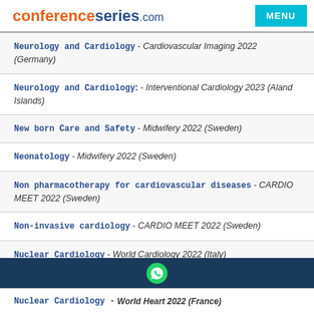conferenceseries.com  MENU
Neurology and Cardiology - Cardiovascular Imaging 2022 (Germany)
Neurology and Cardiology: - Interventional Cardiology 2023 (Aland Islands)
New born Care and Safety - Midwifery 2022 (Sweden)
Neonatology - Midwifery 2022 (Sweden)
Non pharmacotherapy for cardiovascular diseases - CARDIO MEET 2022 (Sweden)
Non-invasive cardiology - CARDIO MEET 2022 (Sweden)
Nuclear Cardiology - World Cardiology 2022 (Italy)
Nuclear Cardiology - World Heart 2022 (France)